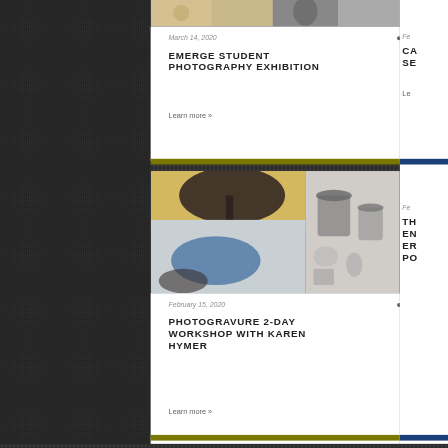[Figure (photo): Top partial card image showing photographs including a black and white portrait]
March 14, 2020
EMERGE STUDENT PHOTOGRAPHY EXHIBITION
Learn more »
[Figure (photo): Hands with blue gloves working on photogravure printmaking with ink jars in background]
February 15, 2020
PHOTOGRAVURE 2-DAY WORKSHOP WITH KAREN HYMER
Learn more »
Fe
CA... SE...
Le...
Fe
TH... EN... ER... PO...